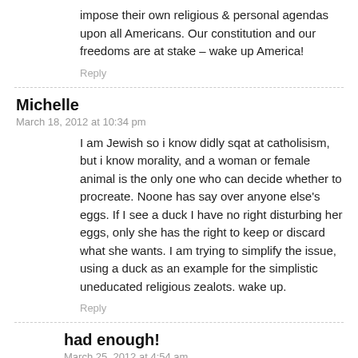impose their own religious & personal agendas upon all Americans. Our constitution and our freedoms are at stake – wake up America!
Reply
Michelle
March 18, 2012 at 10:34 pm
I am Jewish so i know didly sqat at catholisism, but i know morality, and a woman or female animal is the only one who can decide whether to procreate. Noone has say over anyone else's eggs. If I see a duck I have no right disturbing her eggs, only she has the right to keep or discard what she wants. I am trying to simplify the issue, using a duck as an example for the simplistic uneducated religious zealots. wake up.
Reply
had enough!
March 25, 2012 at 4:54 am